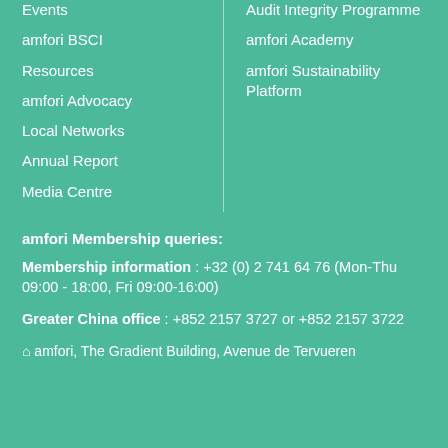Events
amfori BSCI
Resources
amfori Advocacy
Local Networks
Annual Report
Media Centre
Audit Integrity Programme
amfori Academy
amfori Sustainability Platform
amfori Membership queries:
Membership information : +32 (0) 2 741 64 76 (Mon-Thu 09:00 - 18:00, Fri 09:00-16:00)
Greater China office : +852 2157 3727 or  +852 2157 3722
amfori, The Gradient Building, Avenue de Tervueren